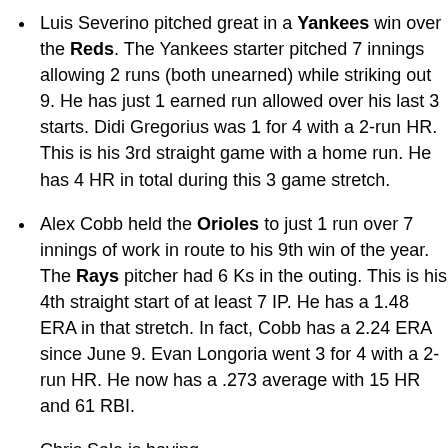Luis Severino pitched great in a Yankees win over the Reds. The Yankees starter pitched 7 innings allowing 2 runs (both unearned) while striking out 9. He has just 1 earned run allowed over his last 3 starts. Didi Gregorius was 1 for 4 with a 2-run HR. This is his 3rd straight game with a home run. He has 4 HR in total during this 3 game stretch.
Alex Cobb held the Orioles to just 1 run over 7 innings of work in route to his 9th win of the year. The Rays pitcher had 6 Ks in the outing. This is his 4th straight start of at least 7 IP. He has a 1.48 ERA in that stretch. In fact, Cobb has a 2.24 ERA since June 9. Evan Longoria went 3 for 4 with a 2-run HR. He now has a .273 average with 15 HR and 61 RBI.
Chris Sale is having... (text cut off)